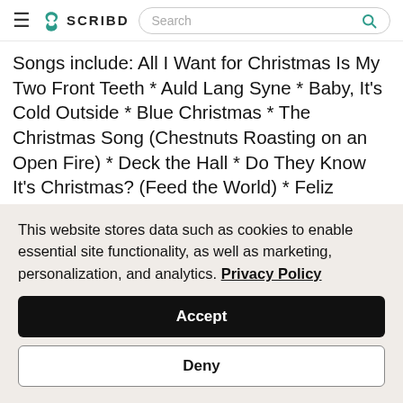SCRIBD [navigation bar with search]
Songs include: All I Want for Christmas Is My Two Front Teeth * Auld Lang Syne * Baby, It's Cold Outside * Blue Christmas * The Christmas Song (Chestnuts Roasting on an Open Fire) * Deck the Hall * Do They Know It's Christmas? (Feed the World) * Feliz Navidad * Good King Wenceslas * Here Comes Santa Claus (Right down Santa Claus Lane) * (There's No Place Like) Home for the Holidays * I'll Be Home for Christmas * It Came upon the Midnight Clear * Jingle Bell Rock * Jingle
This website stores data such as cookies to enable essential site functionality, as well as marketing, personalization, and analytics. Privacy Policy
Accept
Deny